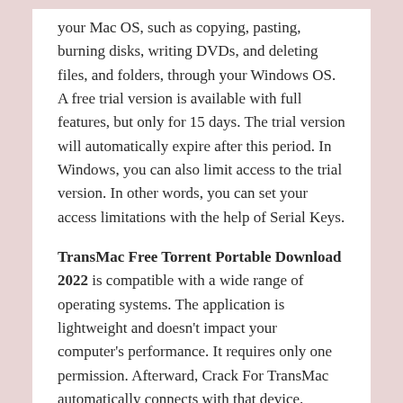your Mac OS, such as copying, pasting, burning disks, writing DVDs, and deleting files, and folders, through your Windows OS. A free trial version is available with full features, but only for 15 days. The trial version will automatically expire after this period. In Windows, you can also limit access to the trial version. In other words, you can set your access limitations with the help of Serial Keys.
TransMac Free Torrent Portable Download 2022 is compatible with a wide range of operating systems. The application is lightweight and doesn't impact your computer's performance. It requires only one permission. Afterward, Crack For TransMac automatically connects with that device. Through this application, you can fully control your Macintosh through the Windows OS. Allow me to do that.